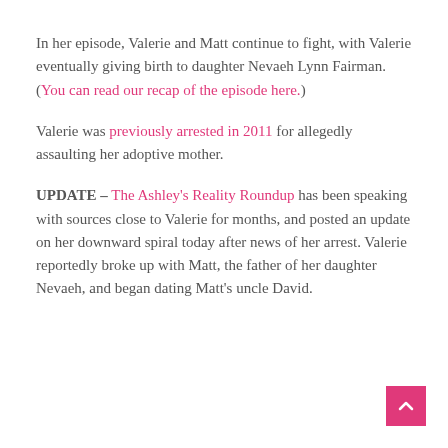In her episode, Valerie and Matt continue to fight, with Valerie eventually giving birth to daughter Nevaeh Lynn Fairman. (You can read our recap of the episode here.)
Valerie was previously arrested in 2011 for allegedly assaulting her adoptive mother.
UPDATE – The Ashley's Reality Roundup has been speaking with sources close to Valerie for months, and posted an update on her downward spiral today after news of her arrest. Valerie reportedly broke up with Matt, the father of her daughter Nevaeh, and began dating Matt's uncle David.